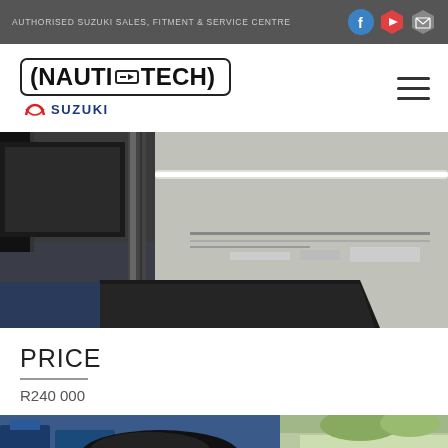AUTHORISED SUZUKI SALES, FITMENT & SERVICE CENTRE
[Figure (logo): NautiTech logo with Suzuki badge]
[Figure (photo): Interior photo of a boat showing floor, pole, cabinet, and grey side panel]
PRICE
R240 000
[Figure (photo): Bottom strip photo showing blue equipment and outdoor scene]